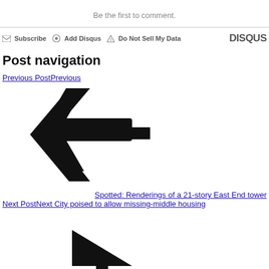Be the first to comment.
Subscribe  Add Disqus  Do Not Sell My Data  DISQUS
Post navigation
Previous PostPrevious
[Figure (illustration): Large left-pointing arrow (back navigation icon)]
Spotted: Renderings of a 21-story East End tower
Next PostNext City poised to allow missing-middle housing
[Figure (illustration): Partial forward-pointing arrow (next navigation icon)]